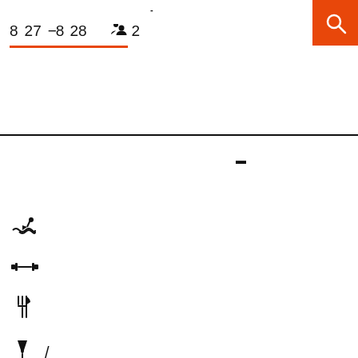8  27  —8  28    👥 2
[Figure (screenshot): Orange search button with magnifying glass icon in upper right corner]
[Figure (infographic): Amenities icons: pool/swim, fitness/dumbbell, restaurant/fork-and-knife, bar/wine-glass with slash, room-service/dome]
—